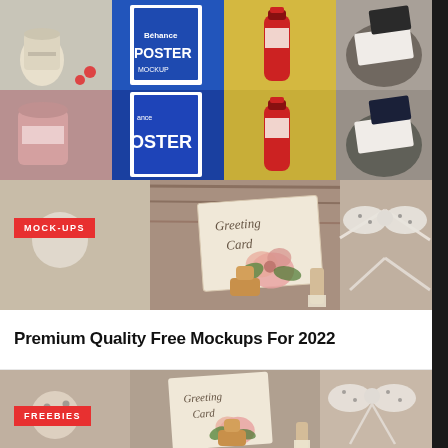[Figure (photo): Grid of product mockup preview images: cream jar, blue poster mockup, sauce bottle on yellow background, business card on tray, pink jar, poster mockup blue, sauce bottle, tray with business cards]
MOCK-UPS
Premium Quality Free Mockups For 2022
[Figure (photo): Greeting card mockup photo showing a decorative card with floral design (Greeting Card text, pink peony flower, green leaves) surrounded by baby toys, a bow ribbon, wooden figurine, and brush on a rustic background]
FREEBIES